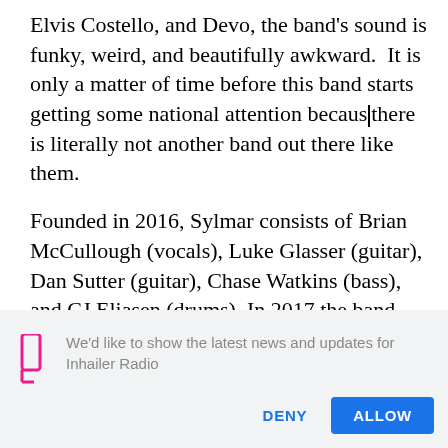Elvis Costello, and Devo, the band's sound is funky, weird, and beautifully awkward.  It is only a matter of time before this band starts getting some national attention because there is literally not another band out there like them.

Founded in 2016, Sylmar consists of Brian McCullough (vocals), Luke Glasser (guitar), Dan Sutter (guitar), Chase Watkins (bass), and CJ Eliasen (drums). In 2017 the band released
We'd like to show the latest news and updates for Inhailer Radio
DENY
ALLOW